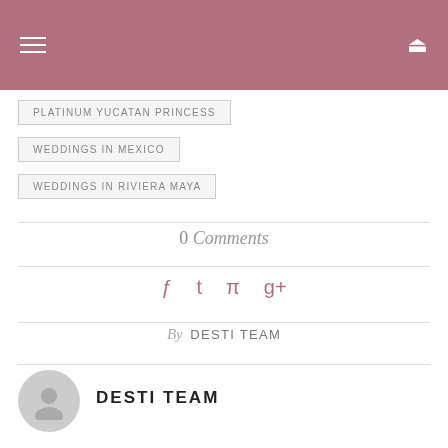Navigation header with hamburger menu and search icon
PLATINUM YUCATAN PRINCESS
WEDDINGS IN MEXICO
WEDDINGS IN RIVIERA MAYA
0 Comments
Social share icons: Facebook, Twitter, Pinterest, Google+
By DESTI TEAM
DESTI TEAM